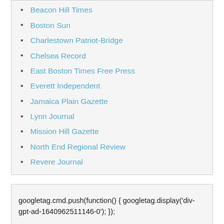Beacon Hill Times
Boston Sun
Charlestown Patriot-Bridge
Chelsea Record
East Boston Times Free Press
Everett Independent
Jamaica Plain Gazette
Lynn Journal
Mission Hill Gazette
North End Regional Review
Revere Journal
googletag.cmd.push(function() { googletag.display('div-gpt-ad-1640962511146-0'); });